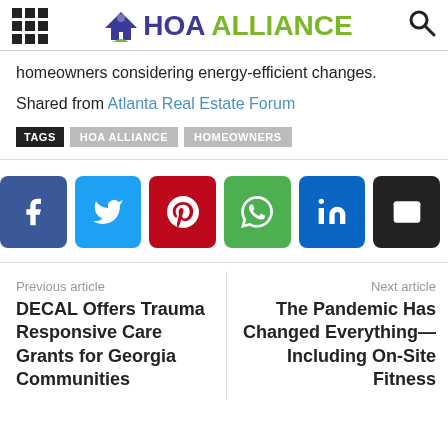HOA ALLIANCE
homeowners considering energy-efficient changes.
Shared from Atlanta Real Estate Forum
TAGS  HOA ALLIANCE  HOMEOWNERS
[Figure (infographic): Social media sharing buttons: Facebook (blue), Twitter (cyan), Pinterest (red), WhatsApp (green), LinkedIn (dark blue), Email (black)]
Previous article
DECAL Offers Trauma Responsive Care Grants for Georgia Communities
Next article
The Pandemic Has Changed Everything—Including On-Site Fitness